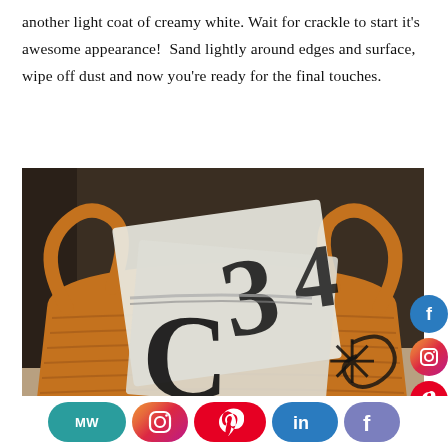another light coat of creamy white. Wait for crackle to start it's awesome appearance!  Sand lightly around edges and surface, wipe off dust and now you're ready for the final touches.
[Figure (photo): A woven basket containing stencils in clear plastic bags. The stencils show large black letters and decorative symbols including a star/asterisk design.]